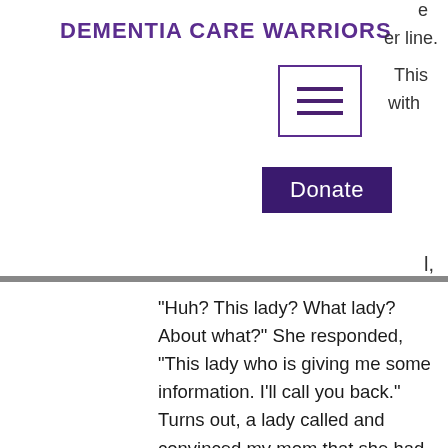DEMENTIA CARE WARRIORS
[Figure (other): Hamburger menu icon — three horizontal lines inside a purple-bordered rectangle]
[Figure (other): Donate button — white text on dark purple background]
"Huh? This lady? What lady? About what?" She responded, "This lady who is giving me some information. I'll call you back." Turns out, a lady called and convinced my mom that she had won $1.7 from Publishers Clearing House. My mom, (against my wishes) is always buying magazines and knick knacks from PCH, so of course now she feels like her diligence and hard work have paid off.  I have no idea what information my mom gave her, and my mom couldn't remember all the details